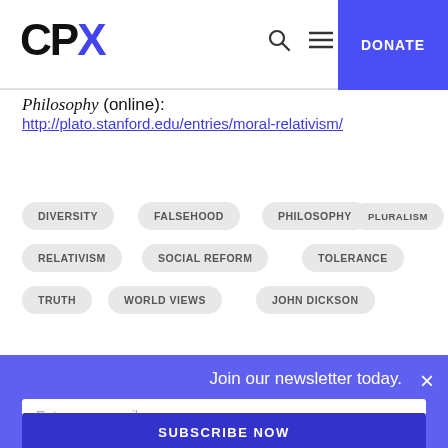[Figure (logo): CPX logo with blue X letter, navigation icons and blue DONATE button]
Philosophy (online): http://plato.stanford.edu/entries/moral-relativism/
DIVERSITY
FALSEHOOD
PHILOSOPHY
PLURALISM
RELATIVISM
SOCIAL REFORM
TOLERANCE
TRUTH
WORLD VIEWS
JOHN DICKSON
Join our newsletter today.
Enter your email
SUBSCRIBE NOW